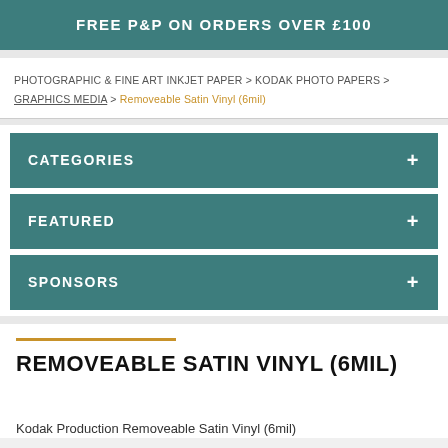FREE P&P ON ORDERS OVER £100
PHOTOGRAPHIC & FINE ART INKJET PAPER > KODAK PHOTO PAPERS > GRAPHICS MEDIA > Removeable Satin Vinyl (6mil)
CATEGORIES
FEATURED
SPONSORS
REMOVEABLE SATIN VINYL (6MIL)
Kodak Production Removeable Satin Vinyl (6mil)